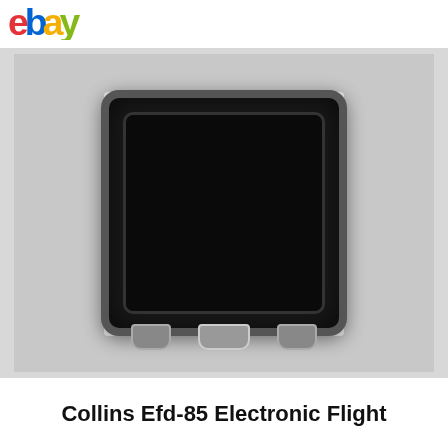[Figure (logo): eBay logo in top-left corner with red, blue, yellow, and green lettering]
[Figure (photo): Collins Efd-85 Electronic Flight display unit — a square black avionics display with dark screen and mounting brackets at the bottom, photographed against a light gray background]
Collins Efd-85 Electronic Flight